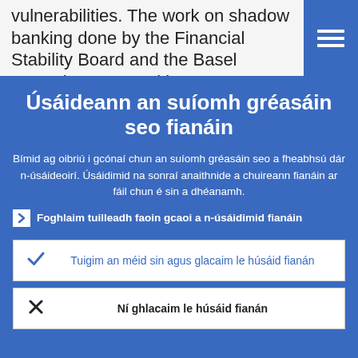vulnerabilities. The work on shadow banking done by the Financial Stability Board and the Basel Committee on Banking Supervision and...
Úsáideann an suíomh gréasáin seo fianáin
Bímid ag oibriú i gcónaí chun an suíomh gréasáin seo a fheabhsú dár n-úsáideoirí. Úsáidimid na sonraí anaithnide a chuireann fianáin ar fáil chun é sin a dhéanamh.
Foghlaim tuilleadh faoin gcaoi a n-úsáidimid fianáin
Tuigim an méid sin agus glacaim le húsáid fianán
Ní ghlacaim le húsáid fianán